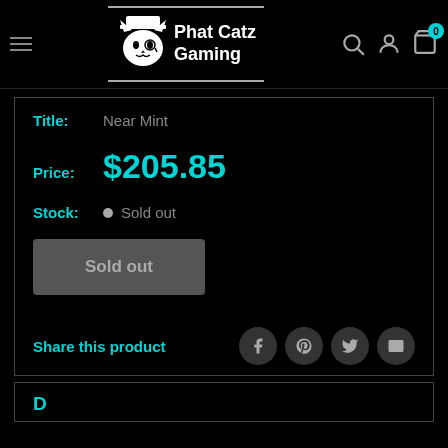Phat Catz Gaming
Title: Near Mint
Price: $205.85
Stock: Sold out
Sold out
Share this product
Description